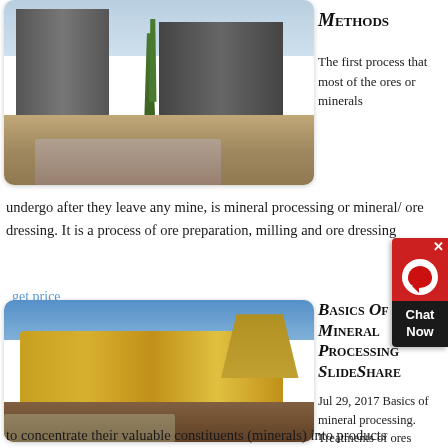[Figure (photo): Mining plant facility with industrial structures, palm trees, and gravel ground]
Methods
The first process that most of the ores or minerals undergo after they leave any mine, is mineral processing or mineral/ ore dressing. It is a process of ore preparation, milling and ore dressing
get price
[Figure (photo): Mobile mineral processing / crushing plant machinery in open pit mining site]
Basics Of Mineral Processing SlideShare
Jul 29, 2017 Basics of mineral processing. Treatments of ores to concentrate their valuable constituents (minerals) into products (concentrate) of smaller bulk, and simultaneously to collect the worthless material (gangue) into discardable waste